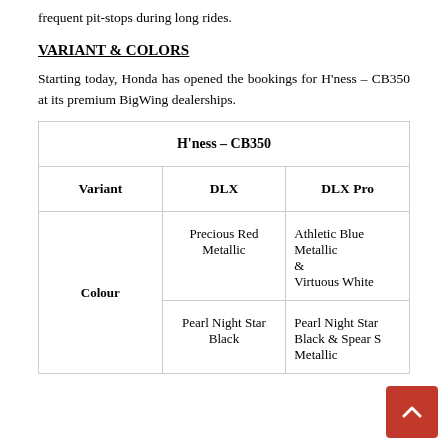frequent pit-stops during long rides.
VARIANT & COLORS
Starting today, Honda has opened the bookings for H'ness – CB350 at its premium BigWing dealerships.
| Variant | DLX | DLX Pro |
| --- | --- | --- |
| Colour | Precious Red Metallic | Athletic Blue Metallic & Virtuous White |
|  | Pearl Night Star Black | Pearl Night Star Black & Spear S Metallic |